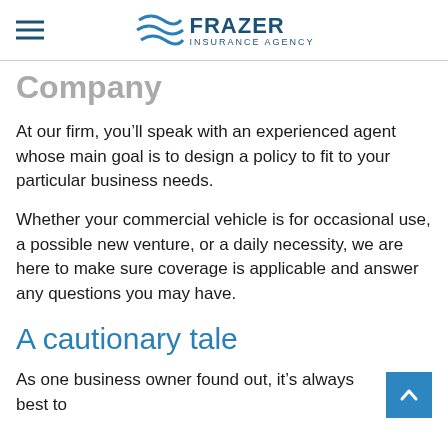FRAZER INSURANCE AGENCY
Company
At our firm, you'll speak with an experienced agent whose main goal is to design a policy to fit to your particular business needs.
Whether your commercial vehicle is for occasional use, a possible new venture, or a daily necessity, we are here to make sure coverage is applicable and answer any questions you may have.
A cautionary tale
As one business owner found out, it’s always best to ask if you do it… you better have a fair…